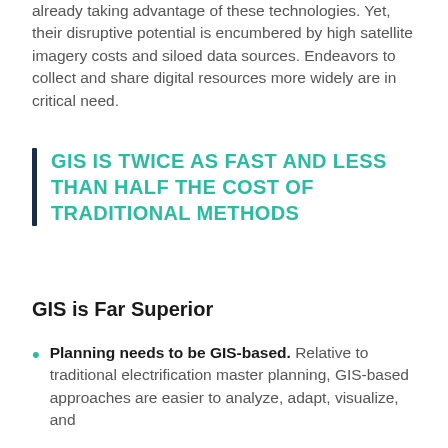already taking advantage of these technologies. Yet, their disruptive potential is encumbered by high satellite imagery costs and siloed data sources. Endeavors to collect and share digital resources more widely are in critical need.
GIS IS TWICE AS FAST AND LESS THAN HALF THE COST OF TRADITIONAL METHODS
GIS is Far Superior
Planning needs to be GIS-based. Relative to traditional electrification master planning, GIS-based approaches are easier to analyze, adapt, visualize, and